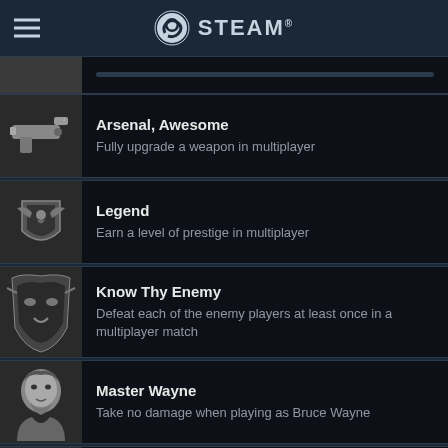STEAM
[Figure (screenshot): Partial achievement item (cropped at top)]
Arsenal, Awesome — Fully upgrade a weapon in multiplayer
Legend — Earn a level of prestige in multiplayer
Know Thy Enemy — Defeat each of the enemy players at least once in a multiplayer match
Master Wayne — Take no damage when playing as Bruce Wayne
Let it Snow — Receive the Extreme Environment Suit (XE Suit)